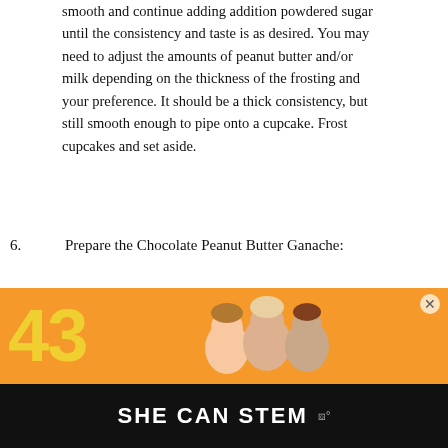smooth and continue adding addition powdered sugar until the consistency and taste is as desired. You may need to adjust the amounts of peanut butter and/or milk depending on the thickness of the frosting and your preference. It should be a thick consistency, but still smooth enough to pipe onto a cupcake. Frost cupcakes and set aside.
6. Prepare the Chocolate Peanut Butter Ganache:
7. Simply add chocolate chips and peanut butter to a small bowl. Microwave for 15 seconds, stir and repeat this process until ingredients are completely melted and combined.
8. Drizzle Chocolate Peanut Butter Ganache over the tops of frosted cupcakes and immediately garnish with several Reese's Pieces on top.
[Figure (screenshot): Advertisement banner with orange background showing the number 43 and children, with a close button]
SHE CAN STEM